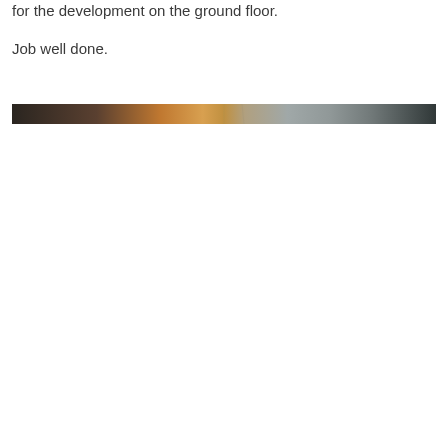for the development on the ground floor.
Job well done.
[Figure (photo): A narrow horizontal strip photograph showing what appears to be an interior architectural space with warm amber/golden tones on the left transitioning to cool grey/silver tones on the right, possibly showing a building interior or corridor.]